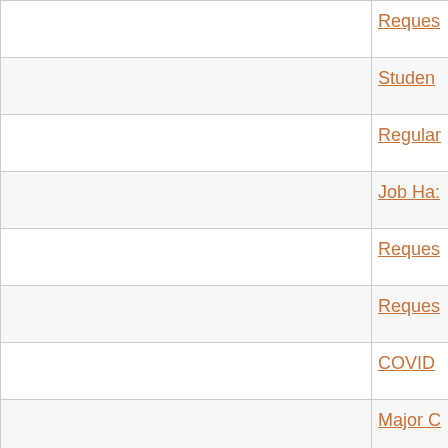|  | Reques... |
|  | Studen... |
|  | Regular... |
|  | Job Ha... |
|  | Reques... |
|  | Reques... |
|  | COVID... |
|  | Major C... |